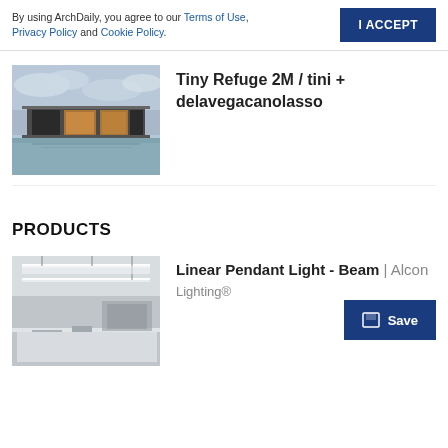By using ArchDaily, you agree to our Terms of Use, Privacy Policy and Cookie Policy.
I ACCEPT
Tiny Refuge 2M / tini + delavegacanolasso
[Figure (photo): Exterior photo of a modern tiny house/refuge structure with large glass panels, lit interior, floating on water, cloudy sky background]
PRODUCTS
Linear Pendant Light - Beam | Alcon Lighting®
[Figure (photo): Interior photo of a commercial/office space with linear pendant lighting installed on ceiling, desks and industrial-style interior]
Save